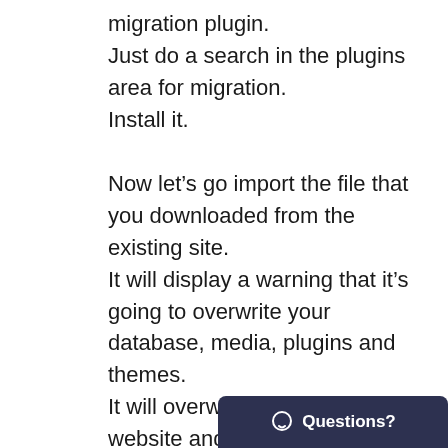migration plugin.
Just do a search in the plugins area for migration.
Install it.
Now let’s go import the file that you downloaded from the existing site.
It will display a warning that it’s going to overwrite your database, media, plugins and themes.
It will overwrite the entire website and all the files at this location. It’s an empty site so it’s fine.
This includes all userna
[Figure (other): Questions? chat button overlay in dark navy blue at bottom right corner]